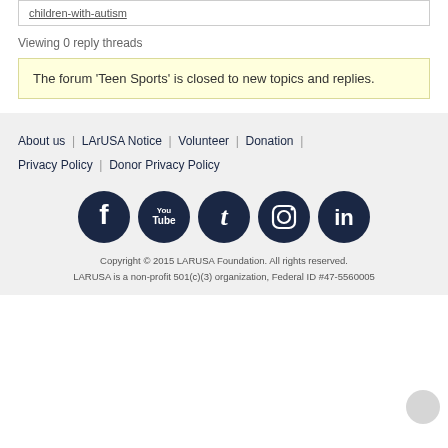children-with-autism
Viewing 0 reply threads
The forum 'Teen Sports' is closed to new topics and replies.
About us | LArUSA Notice | Volunteer | Donation | Privacy Policy | Donor Privacy Policy
[Figure (infographic): Social media icons: Facebook, YouTube, Tumblr, Instagram, LinkedIn — all circular dark navy buttons]
Copyright © 2015 LARUSA Foundation. All rights reserved. LARUSA is a non-profit 501(c)(3) organization, Federal ID #47-5560005